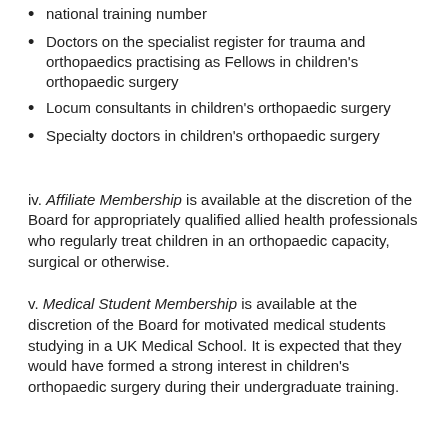national training number
Doctors on the specialist register for trauma and orthopaedics practising as Fellows in children's orthopaedic surgery
Locum consultants in children's orthopaedic surgery
Specialty doctors in children's orthopaedic surgery
iv. Affiliate Membership is available at the discretion of the Board for appropriately qualified allied health professionals who regularly treat children in an orthopaedic capacity, surgical or otherwise.
v. Medical Student Membership is available at the discretion of the Board for motivated medical students studying in a UK Medical School. It is expected that they would have formed a strong interest in children's orthopaedic surgery during their undergraduate training.